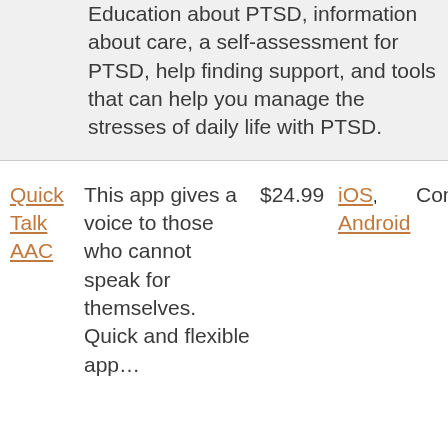Education about PTSD, information about care, a self-assessment for PTSD, help finding support, and tools that can help you manage the stresses of daily life with PTSD.
| App | Description | Price | Platform | Category |
| --- | --- | --- | --- | --- |
| Quick Talk AAC | This app gives a voice to those who cannot speak for themselves. Quick and flexible app… | $24.99 | iOS, Android | Communication |